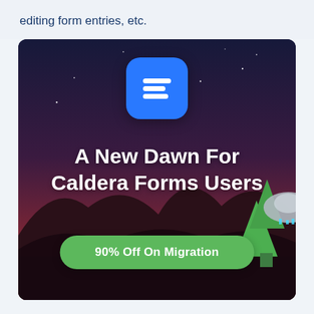editing form entries, etc.
[Figure (illustration): Promotional banner for Caldera Forms migration. Dark purple-red night sky background with a blue app icon at top center showing three horizontal lines (the Fluent Forms logo). Large white bold text reads 'A New Dawn For Caldera Forms Users'. A green rounded button at the bottom reads '90% Off On Migration'. Decorative mountain/tree/UFO illustration in lower right corner.]